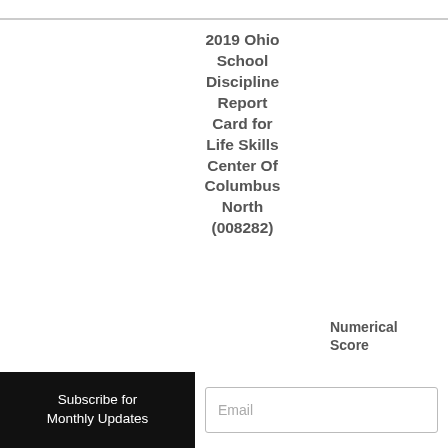2019 Ohio School Discipline Report Card for Life Skills Center Of Columbus North (008282)
| 2019 Ohio School Discipline Report Card for Life Skills Center Of Columbus North (008282) | Numerical Score | Percentage of Total |
| --- | --- | --- |
| Overall Discipline Grade | 34.9 |  |
Subscribe for Monthly Updates
Email